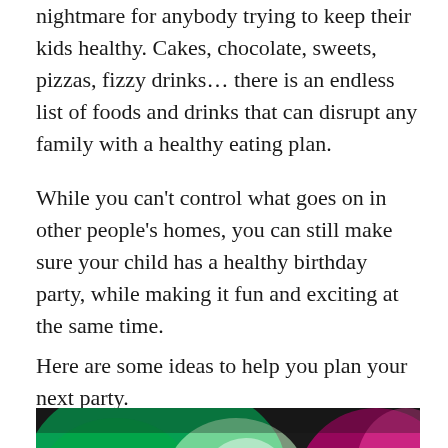nightmare for anybody trying to keep their kids healthy. Cakes, chocolate, sweets, pizzas, fizzy drinks… there is an endless list of foods and drinks that can disrupt any family with a healthy eating plan.
While you can't control what goes on in other people's homes, you can still make sure your child has a healthy birthday party, while making it fun and exciting at the same time.
Here are some ideas to help you plan your next party.
[Figure (photo): Party scene photo with colorful green and pink lighting on what appear to be drink cups or party props, with a dark/moody atmosphere.]